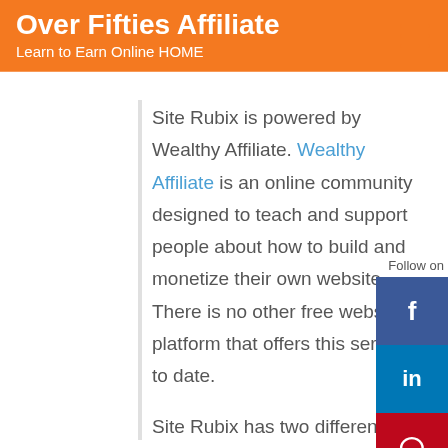Over Fifties Affiliate
Learn to Earn Online HOME
Site Rubix is powered by Wealthy Affiliate. Wealthy Affiliate is an online community designed to teach and support people about how to build and monetize their own website. There is no other free website platform that offers this service to date.
Site Rubix has two different membership options.  Starter (Free) and Premium.  Both these membership options work hand in hand with Wealthy Affiliate.  Site Rubix is a website platform that is designed to grow with you.  So whether you would like a free